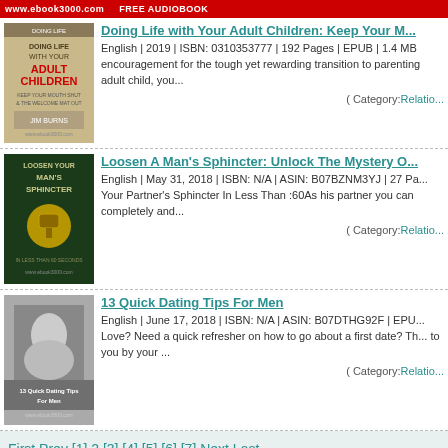www.ebook3000.com FREE AUDIOBOOK
[Figure (illustration): Book cover for 'Doing Life with Your Adult Children' by Jim Burns - beige/olive tones with feet image]
Doing Life with Your Adult Children: Keep Your M...
English | 2019 | ISBN: 0310353777 | 192 Pages | EPUB | 1.4 MB encouragement for the tough yet rewarding transition to parenting adult child, you...
( Category:Relatio...
[Figure (illustration): Book cover for 'Loosen A Man's Sphincter' - dark green with golden padlock]
Loosen A Man's Sphincter: Unlock The Mystery O...
English | May 31, 2018 | ISBN: N/A | ASIN: B07BZNM3YJ | 27 Pa... Your Partner's Sphincter In Less Than :60As his partner you can completely and...
( Category:Relatio...
[Figure (illustration): Book cover for '13 Quick Dating Tips For Men' - black and white couple photo with www.ebook3000.com watermark]
13 Quick Dating Tips For Men
English | June 17, 2018 | ISBN: N/A | ASIN: B07DTHG92F | EPU... Love? Need a quick refresher on how to go about a first date? Th... to you by your ...
( Category:Relatio...
First Prev [1] 2 [3] [4] [5] [6] [7] Next Last
Top | DMCA Information | Privacy Policy